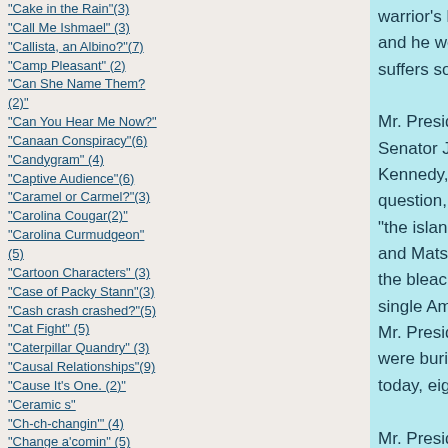"Cake in the Rain"(3)
"Call Me Ishmael" (3)
"Callista, an Albino?"(7)
"Camp Pleasant" (2)
"Can She Name Them? (2)"
"Can You Hear Me Now?"
"Canaan Conspiracy"(6)
"Candygram" (4)
"Captive Audience"(6)
"Caramel or Carmel?"(3)
"Carolina Cougar(2)"
"Carolina Curmudgeon" (5)
"Cartoon Characters" (3)
"Case of Packy Stann"(3)
"Cash crash crashed?"(5)
"Cat Fight" (5)
"Caterpillar Quandry" (3)
"Causal Relationships"(9)
"Cause It's One. (2)"
"Ceramic s"
"Ch-ch-changin'" (4)
"Change a'comin" (5)
"Change is Good" (5)
"Change?" (3)
"Changin' Channels" (2)
"Chapter 13"
warrior's heart this night, and he weeps for he who suffers so.

Mr. President, then-Senator John Fitzgerald Kennedy, in response to a question, once said that "the islands of Quemoy and Matsu are not worth the bleached bones of a single American soldier."  Mr. President, eight boys were buried at Fort Lewis today, eight.

Mr. President, Frodo believes with every fiber of his being that you understand the depth of his heartbreak.  Frodo believes that you will, too, look into the mirror that is the eyes